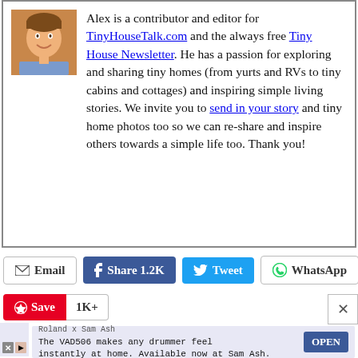[Figure (photo): Small headshot photo of a young man smiling, with a warm reddish-brown background]
Alex is a contributor and editor for TinyHouseTalk.com and the always free Tiny House Newsletter. He has a passion for exploring and sharing tiny homes (from yurts and RVs to tiny cabins and cottages) and inspiring simple living stories. We invite you to send in your story and tiny home photos too so we can re-share and inspire others towards a simple life too. Thank you!
Email | Share 1.2K | Tweet | WhatsApp
Save | 1K+
Roland x Sam Ash
The VAD506 makes any drummer feel instantly at home. Available now at Sam Ash.
OPEN